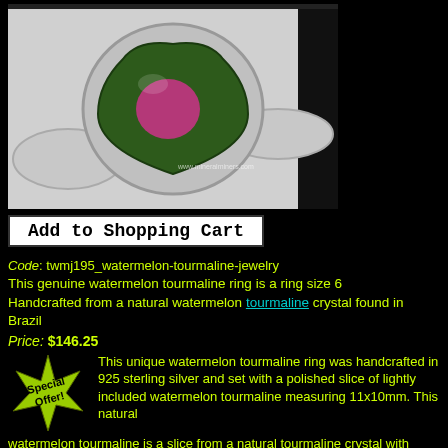[Figure (photo): A watermelon tourmaline ring set in sterling silver. The stone is a triangular/heart-shaped green tourmaline slice with a pink circular center, set in a silver bezel. Photo has a light background. Watermark: www.mineralminers.com]
Add to Shopping Cart
Code: twmj195_watermelon-tourmaline-jewelry
This genuine watermelon tourmaline ring is a ring size 6
Handcrafted from a natural watermelon tourmaline crystal found in Brazil
Price: $146.25
[Figure (illustration): Green star-burst shape with black text reading 'Special Offer!']
This unique watermelon tourmaline ring was handcrafted in 925 sterling silver and set with a polished slice of lightly included watermelon tourmaline measuring 11x10mm. This natural watermelon tourmaline is a slice from a natural tourmaline crystal with watermelon colors, a green rim surrounding a pink center,